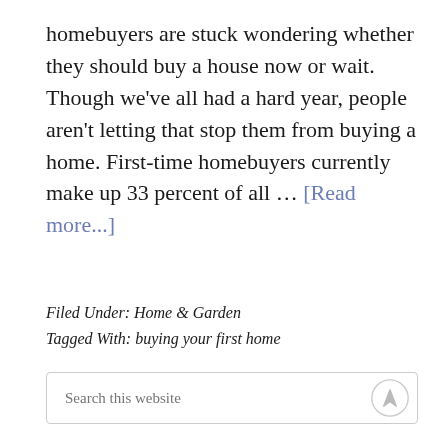homebuyers are stuck wondering whether they should buy a house now or wait. Though we've all had a hard year, people aren't letting that stop them from buying a home. First-time homebuyers currently make up 33 percent of all … [Read more...]
Filed Under: Home & Garden
Tagged With: buying your first home